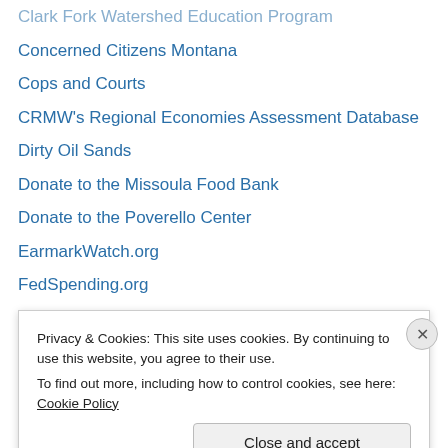Clark Fork Watershed Education Program
Concerned Citizens Montana
Cops and Courts
CRMW's Regional Economies Assessment Database
Dirty Oil Sands
Donate to the Missoula Food Bank
Donate to the Poverello Center
EarmarkWatch.org
FedSpending.org
Good Jobs First
Government News for Montana
Guide to Montana Courts
Hatewatch
Headwaters Economics
Privacy & Cookies: This site uses cookies. By continuing to use this website, you agree to their use.
To find out more, including how to control cookies, see here: Cookie Policy
Close and accept